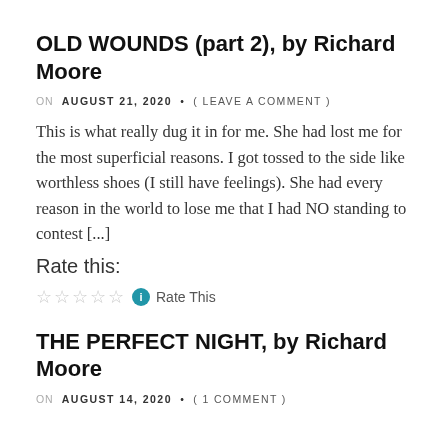OLD WOUNDS (part 2), by Richard Moore
ON AUGUST 21, 2020 • ( LEAVE A COMMENT )
This is what really dug it in for me. She had lost me for the most superficial reasons. I got tossed to the side like worthless shoes (I still have feelings). She had every reason in the world to lose me that I had NO standing to contest [...]
Rate this:
☆☆☆☆☆ ℹ Rate This
THE PERFECT NIGHT, by Richard Moore
ON AUGUST 14, 2020 • ( 1 COMMENT )